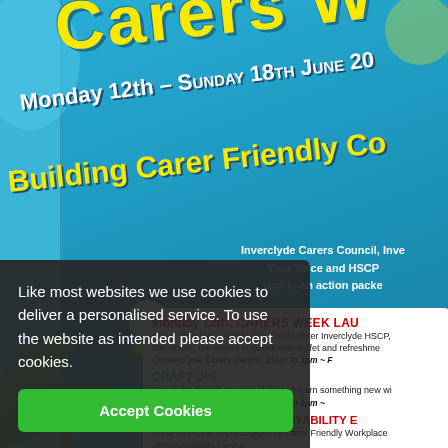[Figure (infographic): Carers Week promotional poster with blue background, yellow decorative text, schedule of events, and a cookie consent overlay banner]
Carers W[eek]
Monday 12th - Sunday 18th June 20[17]
Building Carer Friendly Co[mmunities]
Inverclyde Carers Council, Inve[rclyde] Your Voice and HSCP part in an action packe[d week]
Monday 12th:  CARERS WEEK LAU[NCH]
Guest Speaker: Louise Long Chief Officer Inverclyde HSCP, introducing the weeks activities with buffet and refreshme[nts]
@Inverclyde Carers Centre, 11am to 1pm ~
CRAFT DIS[COVERY DAY]
Join in the fun, share your skills and learn something new wi[th us]
@Inverclyde Carers Centre, 11am to 1pm ~
Wednesday 14th:  EMPLOYABILITY E[VENT]
Local employer event to promote Carer Friendly Workplace[s]
@[Beacon] Arts Centre
Contact Carer's Centre for details - 01475 7[...]
Thursday 15th:  CARERS MYSTERY T[OUR]
Like most websites we use cookies to deliver a personalised service. To use the website as intended please accept cookies.
Accept Cookies